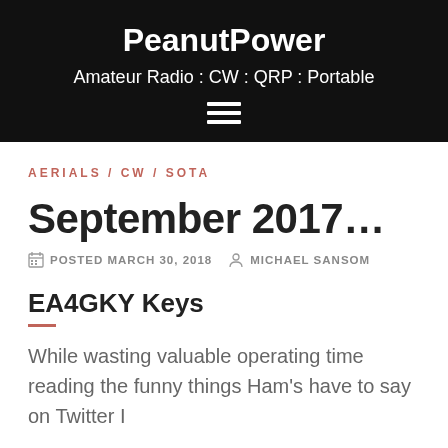PeanutPower
Amateur Radio : CW : QRP : Portable
AERIALS / CW / SOTA
September 2017...
POSTED MARCH 30, 2018  MICHAEL SANSOM
EA4GKY Keys
While wasting valuable operating time reading the funny things Ham's have to say on Twitter I